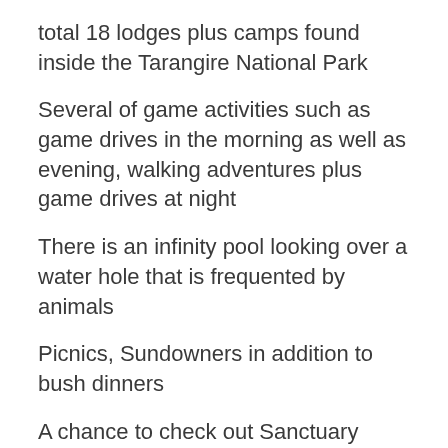total 18 lodges plus camps found inside the Tarangire National Park
Several of game activities such as game drives in the morning as well as evening, walking adventures plus game drives at night
There is an infinity pool looking over a water hole that is frequented by animals
Picnics, Sundowners in addition to bush dinners
A chance to check out Sanctuary Retreats Philanthropy Projects such as Mwika beekeeping project
The library, main dining area plus deck are